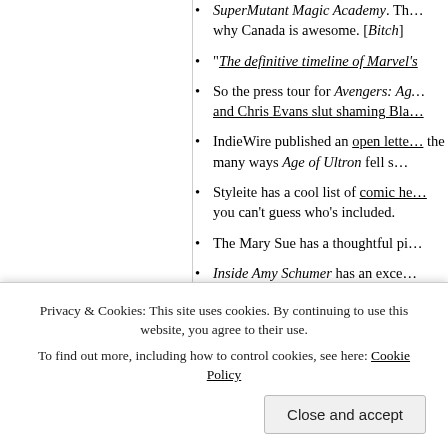SuperMutant Magic Academy. Th… why Canada is awesome. [Bitch]
"The definitive timeline of Marvel's…
So the press tour for Avengers: Ag… and Chris Evans slut shaming Bla…
IndieWire published an open lette… the many ways Age of Ultron fell s…
Styleite has a cool list of comic he… you can't guess who's included.
The Mary Sue has a thoughtful pi…
Inside Amy Schumer has an exce… incredibly on point, but also a little… the military.
Whoopi Goldberg was interviewed…
Privacy & Cookies: This site uses cookies. By continuing to use this website, you agree to their use. To find out more, including how to control cookies, see here: Cookie Policy